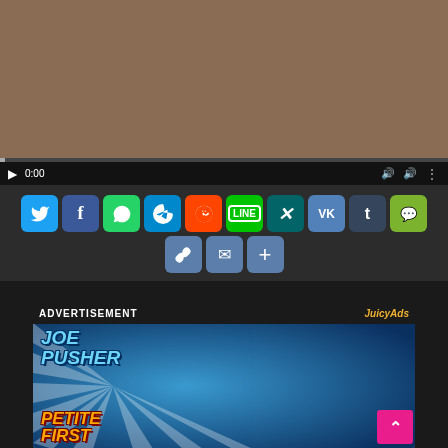[Figure (screenshot): Video player showing thumbnail with video controls bar at bottom showing play button and 0:00 timestamp]
[Figure (infographic): Social media share buttons row: Twitter, Facebook, WhatsApp, Telegram, Reddit, LINE, XING, VK, Tumblr, WeChat, plus link, email, and more buttons]
ADVERTISEMENT
[Figure (screenshot): Advertisement banner for Joe Pusher - Petite First, with blue ray background and woman with glasses]